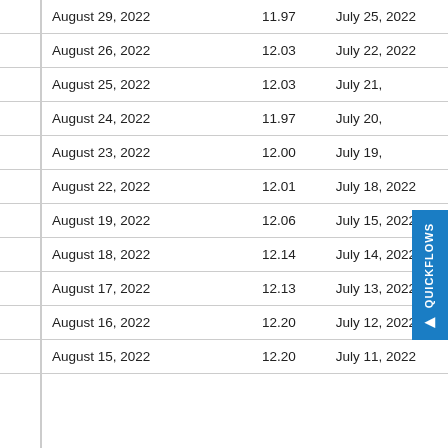| August 29, 2022 | 11.97 | July 25, 2022 |
| August 26, 2022 | 12.03 | July 22, 2022 |
| August 25, 2022 | 12.03 | July 21, 2022 |
| August 24, 2022 | 11.97 | July 20, 2022 |
| August 23, 2022 | 12.00 | July 19, 2022 |
| August 22, 2022 | 12.01 | July 18, 2022 |
| August 19, 2022 | 12.06 | July 15, 2022 |
| August 18, 2022 | 12.14 | July 14, 2022 |
| August 17, 2022 | 12.13 | July 13, 2022 |
| August 16, 2022 | 12.20 | July 12, 2022 |
| August 15, 2022 | 12.20 | July 11, 2022 |